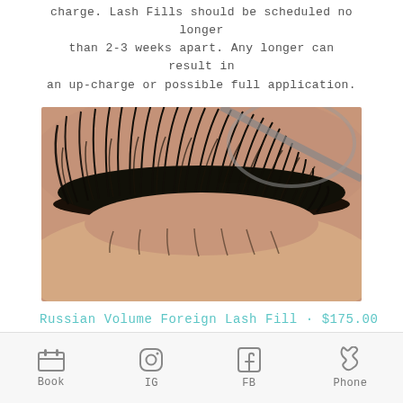charge. Lash Fills should be scheduled no longer than 2-3 weeks apart. Any longer can result in an up-charge or possible full application.
[Figure (photo): Close-up photograph of a person's eye with voluminous Russian volume eyelash extensions applied, tweezers visible at top]
Russian Volume Foreign Lash Fill · $175.00
2 hours (+/-) | Please note that this is a custom service and actual duration may vary
Book  IG  FB  Phone